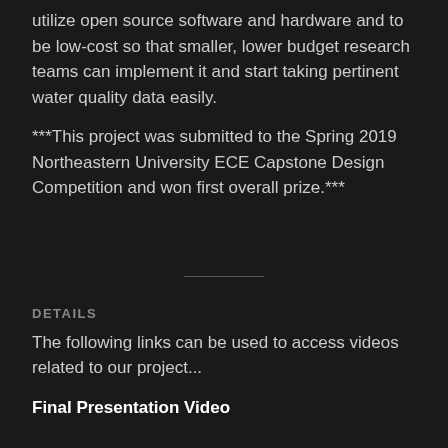utilize open source software and hardware and to be low-cost so that smaller, lower budget research teams can implement it and start taking pertinent water quality data easily.
***This project was submitted to the Spring 2019 Northeastern University ECE Capstone Design Competition and won first overall prize.***
DETAILS
The following links can be used to access videos related to our project...
Final Presentation Video